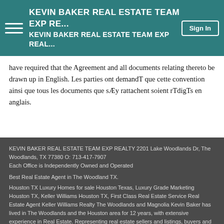KEVIN BAKER REAL ESTATE TEAM EXP RE... | KEVIN BAKER REAL ESTATE TEAM EXP REAL... | Sign In
have required that the Agreement and all documents relating thereto be drawn up in English. Les parties ont demandT que cette convention ainsi que tous les documents que sÆy rattachent soient rTdigTs en anglais.
KEVIN BAKER REAL ESTATE TEAM EXP REALTY 2201 Lake Woodlands Dr, The Woodlands, TX 77380 O: 713-417-7907
Each Office is Independently Owned and Operated

Best Real Estate Agent in The Woodland TX.

Houston TX Luxury Homes for sale Houston Texas, Luxury Grade Marketing Houston TX, Keller Williams Houston TX, First Class Real Estate Service Real Estate Agent Keller Williams Realty The Woodlands and Magnolia Kevin Baker has lived in The Woodlands and the Houston area for 12 years, with extensive experience in Real Estate. Representing real estate sellers and listings, buyers and investors in The Woodlands, Spring, Conroe, Montgomery County, and surrounding Houston area. MLS Listings, townhomes, condos, luxury homes, city homes, country homes,